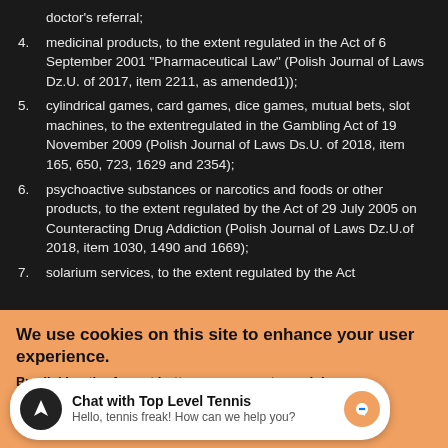doctor's referral;
4. medicinal products, to the extent regulated in the Act of 6 September 2001 "Pharmaceutical Law" (Polish Journal of Laws Dz.U. of 2017, item 2211, as amended1));
5. cylindrical games, card games, dice games, mutual bets, slot machines, to the extentregulated in the Gambling Act of 19 November 2009 (Polish Journal of Laws Ds.U. of 2018, item 165, 650, 723, 1629 and 2354);
6. psychoactive substances or narcotics and foods or other products, to the extent regulated by the Act of 29 July 2005 on Counteracting Drug Addiction (Polish Journal of Laws Dz.U.of 2018, item 1030, 1490 and 1669);
7. solarium services, to the extent regulated by the Act
We use cookies on this site to enhance your user experience.
By clicking the Accept button, you agree to us doing so.
Chat with Top Level Tennis
Hello, tennis freak! How can we help you?